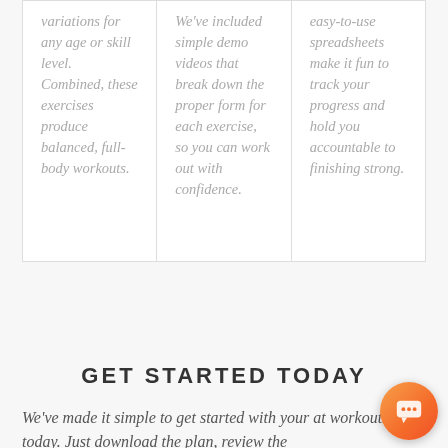variations for any age or skill level. Combined, these exercises produce balanced, full-body workouts.
We've included simple demo videos that break down the proper form for each exercise, so you can work out with confidence.
easy-to-use spreadsheets make it fun to track your progress and hold you accountable to finishing strong.
GET STARTED TODAY
We've made it simple to get started with your at workouts today. Just download the plan, review the